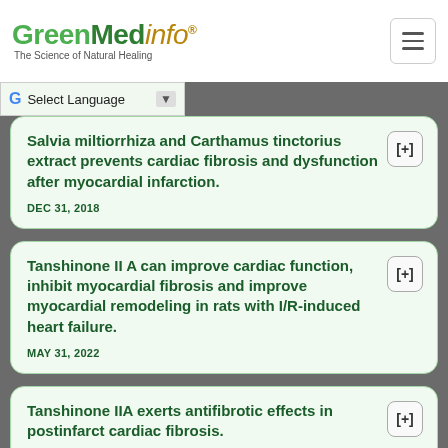GreenMedInfo - The Science of Natural Healing
Select Language
Salvia miltiorrhiza and Carthamus tinctorius extract prevents cardiac fibrosis and dysfunction after myocardial infarction. DEC 31, 2018
Tanshinone II A can improve cardiac function, inhibit myocardial fibrosis and improve myocardial remodeling in rats with I/R-induced heart failure. MAY 31, 2022
Tanshinone IIA exerts antifibrotic effects in postinfarct cardiac fibrosis.